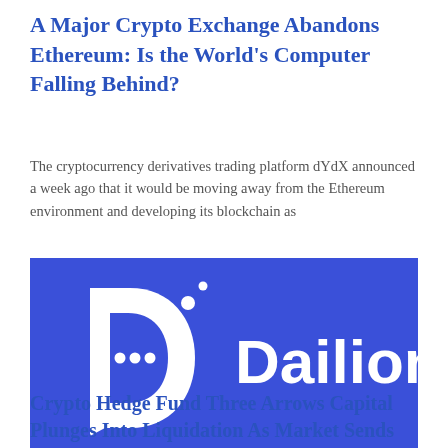A Major Crypto Exchange Abandons Ethereum: Is the World's Computer Falling Behind?
The cryptocurrency derivatives trading platform dYdX announced a week ago that it would be moving away from the Ethereum environment and developing its blockchain as
[Figure (logo): Dailion logo — white stylized letter D speech bubble icon with three dots and two circles, beside the text 'Dailion' in white bold sans-serif, on a blue background]
Crypto Hedge Fund Three Arrows Capital Plunges Into Liquidation As Market Sends Token Falling...